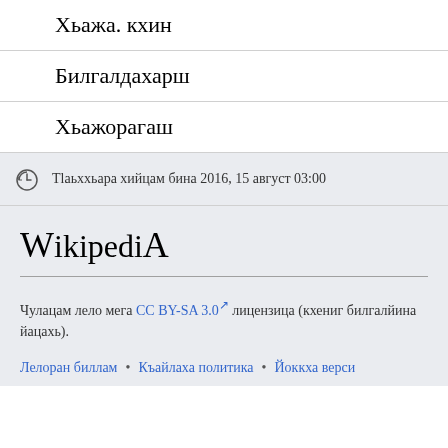Хьажа. кхин
Билгалдахарш
Хьажорагаш
Тlаьxxьара хийцам бина 2016, 15 август 03:00
Wikipedia
Чулацам лело мега CC BY-SA 3.0 лицензица (кхениг билгалйина йацахь).
Лелоран биллам • Къайлаха политика • Йоккха верси